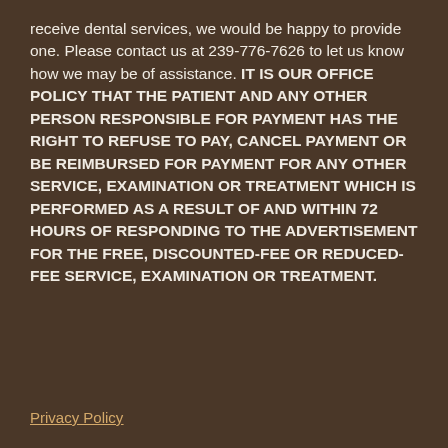receive dental services, we would be happy to provide one. Please contact us at 239-776-7626 to let us know how we may be of assistance. IT IS OUR OFFICE POLICY THAT THE PATIENT AND ANY OTHER PERSON RESPONSIBLE FOR PAYMENT HAS THE RIGHT TO REFUSE TO PAY, CANCEL PAYMENT OR BE REIMBURSED FOR PAYMENT FOR ANY OTHER SERVICE, EXAMINATION OR TREATMENT WHICH IS PERFORMED AS A RESULT OF AND WITHIN 72 HOURS OF RESPONDING TO THE ADVERTISEMENT FOR THE FREE, DISCOUNTED-FEE OR REDUCED-FEE SERVICE, EXAMINATION OR TREATMENT.
Privacy Policy